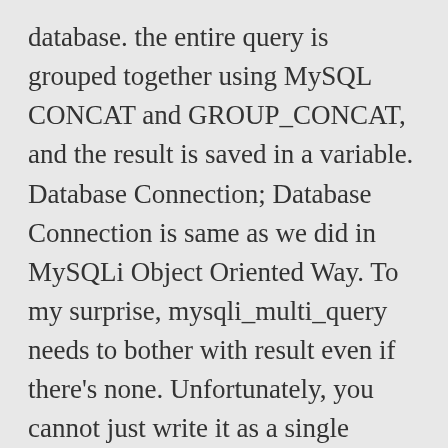database. the entire query is grouped together using MySQL CONCAT and GROUP_CONCAT, and the result is saved in a variable. Database Connection; Database Connection is same as we did in MySQLi Object Oriented Way. To my surprise, mysqli_multi_query needs to bother with result even if there's none. Unfortunately, you cannot just write it as a single variable, like this. Imagine you've got an array of values that you want to use in the IN() clause in your SQL query. WATCH OUT: if you mix $mysqli->multi_query and $mysqli->query, the latter(s) won't be executed! For example: INSERT INTO users VALUES(?, ?, ?). I agree that the word "batter" in this situation (from 30 months before me) should instead be the... Hi, So this